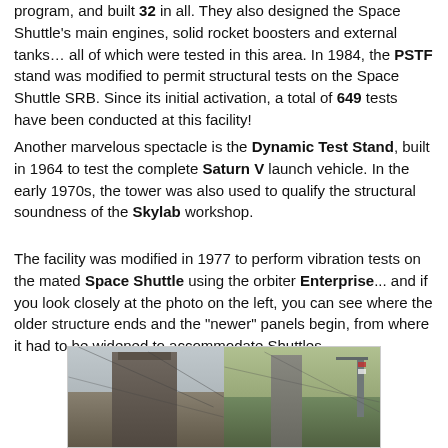program, and built 32 in all. They also designed the Space Shuttle's main engines, solid rocket boosters and external tanks… all of which were tested in this area. In 1984, the PSTF stand was modified to permit structural tests on the Space Shuttle SRB. Since its initial activation, a total of 649 tests have been conducted at this facility!
Another marvelous spectacle is the Dynamic Test Stand, built in 1964 to test the complete Saturn V launch vehicle. In the early 1970s, the tower was also used to qualify the structural soundness of the Skylab workshop.
The facility was modified in 1977 to perform vibration tests on the mated Space Shuttle using the orbiter Enterprise... and if you look closely at the photo on the left, you can see where the older structure ends and the "newer" panels begin, from where it had to be widened to accommodate Shuttles.
[Figure (photo): Two side-by-side photos of the Dynamic Test Stand tower structure. Left photo shows the tall building structure against a grey sky. Right photo shows a closer view of the tower with a crane visible.]